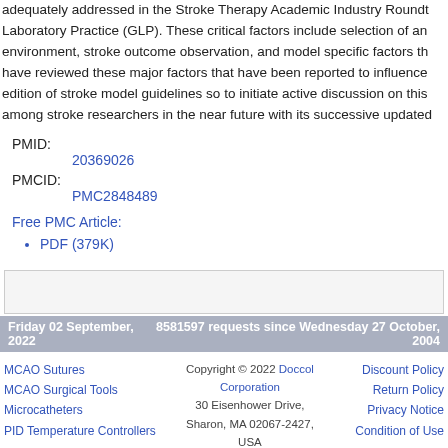adequately addressed in the Stroke Therapy Academic Industry Roundtable Laboratory Practice (GLP). These critical factors include selection of an environment, stroke outcome observation, and model specific factors that have reviewed these major factors that have been reported to influence edition of stroke model guidelines so to initiate active discussion on this among stroke researchers in the near future with its successive updated
PMID:
20369026
PMCID:
PMC2848489
Free PMC Article:
PDF (379K)
Friday 02 September, 2022    8581597 requests since Wednesday 27 October, 2004
Copyright © 2022 Doccol Corporation
30 Eisenhower Drive,
Sharon, MA 02067-2427,
USA
Toll-free Tel: (888) 481-0842;
Fax: (888) 893-5285
MCAO Sutures
MCAO Surgical Tools
Microcatheters
PID Temperature Controllers
Discount Policy
Return Policy
Privacy Notice
Condition of Use